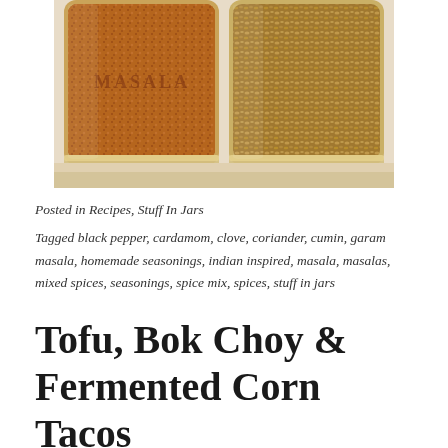[Figure (photo): Two glass jars side by side containing spices — left jar contains fine reddish-brown ground spice (garam masala), right jar contains whole coriander seeds and other whole spices. The word MASALA is partially visible on the left jar.]
Posted in Recipes, Stuff In Jars
Tagged black pepper, cardamom, clove, coriander, cumin, garam masala, homemade seasonings, indian inspired, masala, masalas, mixed spices, seasonings, spice mix, spices, stuff in jars
Tofu, Bok Choy & Fermented Corn Tacos
March 21, 2015